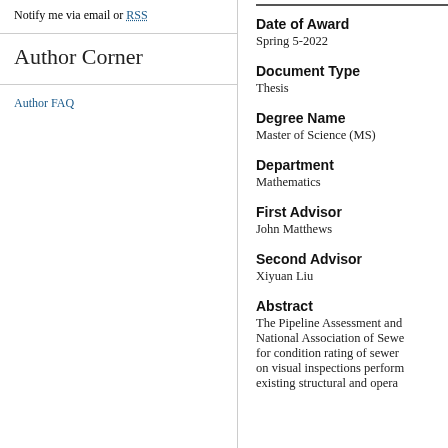Notify me via email or RSS
Author Corner
Author FAQ
Date of Award
Spring 5-2022
Document Type
Thesis
Degree Name
Master of Science (MS)
Department
Mathematics
First Advisor
John Matthews
Second Advisor
Xiyuan Liu
Abstract
The Pipeline Assessment and National Association of Sewe for condition rating of sewer on visual inspections perform existing structural and opera